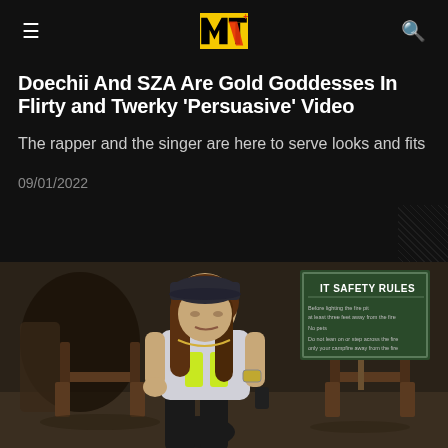MTV [logo] hamburger menu and search icon
Doechii And SZA Are Gold Goddesses In Flirty and Twerky 'Persuasive' Video
The rapper and the singer are here to serve looks and fits
09/01/2022
[Figure (photo): A woman wearing a black baseball cap, white graphic t-shirt, and black leggings sitting in a wooden chair outdoors. A green safety rules sign is visible in the background. The setting appears to be a wooded/outdoor area.]